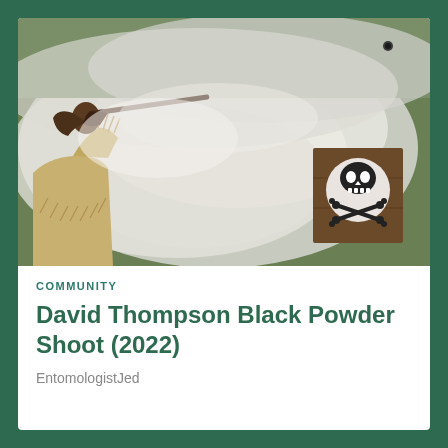[Figure (photo): A person in fringed buckskin clothing aiming a rifle/musket, with a cloud of black powder smoke filling the air. In the background is a shooting target featuring a skull and crossbones design on a wooden board, set against a green hillside.]
COMMUNITY
David Thompson Black Powder Shoot (2022)
EntomologistJed